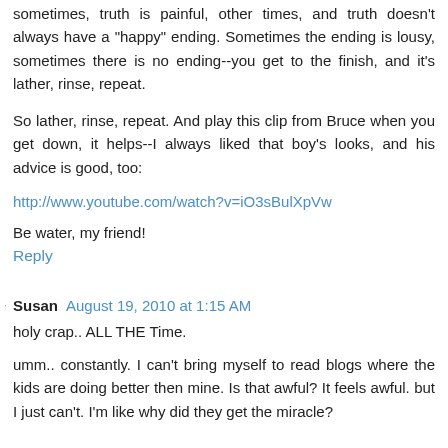sometimes, truth is painful, other times, and truth doesn't always have a "happy" ending. Sometimes the ending is lousy, sometimes there is no ending--you get to the finish, and it's lather, rinse, repeat.
So lather, rinse, repeat. And play this clip from Bruce when you get down, it helps--I always liked that boy's looks, and his advice is good, too:
http://www.youtube.com/watch?v=iO3sBulXpVw
Be water, my friend!
Reply
Susan  August 19, 2010 at 1:15 AM
holy crap.. ALL THE Time.
umm.. constantly. I can't bring myself to read blogs where the kids are doing better then mine. Is that awful? It feels awful. but I just can't. I'm like why did they get the miracle?